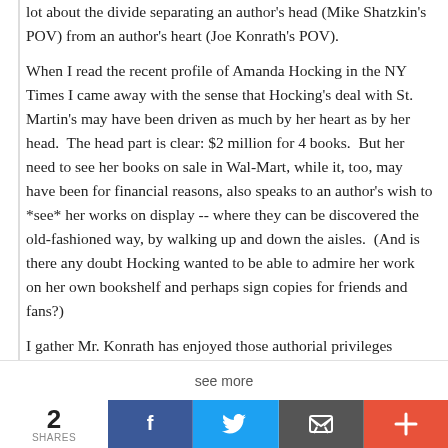lot about the divide separating an author's head (Mike Shatzkin's POV) from an author's heart (Joe Konrath's POV).

When I read the recent profile of Amanda Hocking in the NY Times I came away with the sense that Hocking's deal with St. Martin's may have been driven as much by her heart as by her head. The head part is clear: $2 million for 4 books. But her need to see her books on sale in Wal-Mart, while it, too, may have been for financial reasons, also speaks to an author's wish to *see* her works on display -- where they can be discovered the old-fashioned way, by walking up and down the aisles. (And is there any doubt Hocking wanted to be able to admire her work on her own bookshelf and perhaps sign copies for friends and fans?)

I gather Mr. Konrath has enjoyed those authorial privileges and from these conventions...
see more